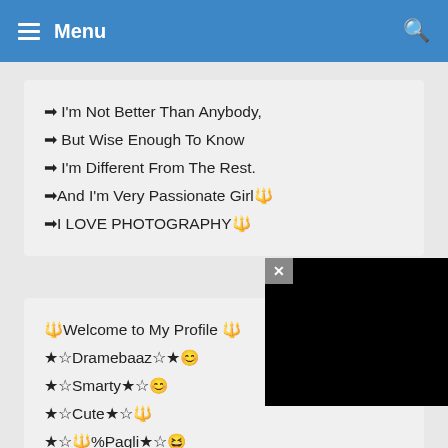≡ Menu
➡ I'm Not Better Than Anybody,
➡ But Wise Enough To Know
➡ I'm Different From The Rest.
➡And I'm Very Passionate Girl🔱
➡I LOVE PHOTOGRAPHY🔱
🔱Welcome to My Profile 🔱
★☆Dramebaaz☆★😊
★☆Smarty★☆😊
★☆Cute★☆🔱
★☆🔱%Pagli★☆😆
★☆Love🔱Mom+Dad ★☆♥
★☆Cake Party😊11Feb☆★🔱
[Figure (screenshot): Ad overlay with black background, close button (×), 'powered by AdSparc' text in grey with red diamond symbol, and a loading circle spinner in white/grey]